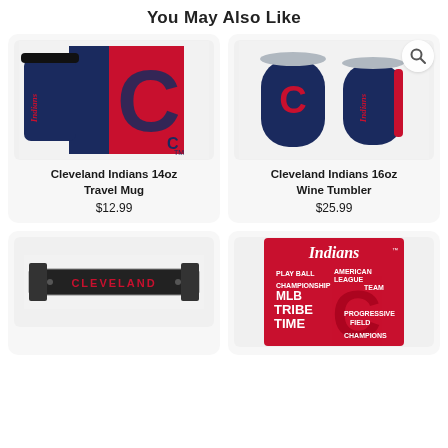You May Also Like
[Figure (photo): Cleveland Indians 14oz Travel Mug product image showing navy blue and red travel mug with Indians logo]
Cleveland Indians 14oz Travel Mug
$12.99
[Figure (photo): Cleveland Indians 16oz Wine Tumbler product image showing two navy blue stemless wine tumblers with C logo]
Cleveland Indians 16oz Wine Tumbler
$25.99
[Figure (photo): Cleveland license plate frame in black/chrome with CLEVELAND text in red]
[Figure (photo): Cleveland Indians decorative sign in red with Indians script logo and text words: PLAY BALL, AMERICAN LEAGUE, CHAMPIONSHIP TEAM, MLB, TRIBE, TIME, PROGRESSIVE FIELD, CHAMPIONS]